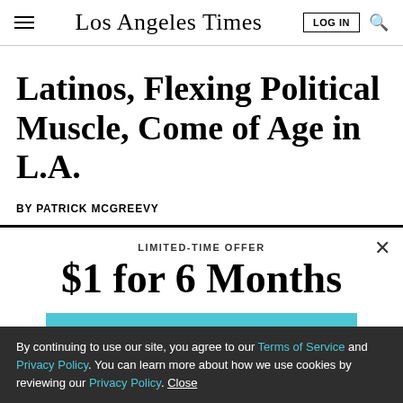Los Angeles Times
Latinos, Flexing Political Muscle, Come of Age in L.A.
BY PATRICK MCGREEVY
LIMITED-TIME OFFER
$1 for 6 Months
SUBSCRIBE NOW
By continuing to use our site, you agree to our Terms of Service and Privacy Policy. You can learn more about how we use cookies by reviewing our Privacy Policy. Close